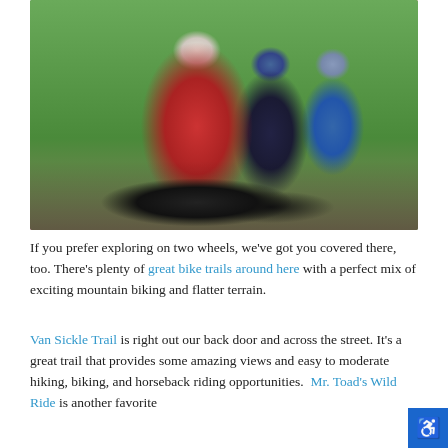[Figure (photo): Three cyclists (two children and an adult woman) riding bicycles on a forest trail surrounded by purple wildflowers and green trees. The lead rider is a girl in a red shirt and black shorts wearing a white helmet, smiling at the camera.]
If you prefer exploring on two wheels, we've got you covered there, too. There's plenty of great bike trails around here with a perfect mix of exciting mountain biking and flatter terrain.
Van Sickle Trail is right out our back door and across the street. It's a great trail that provides some amazing views and easy to moderate hiking, biking, and horseback riding opportunities.  Mr. Toad's Wild Ride is another favorite